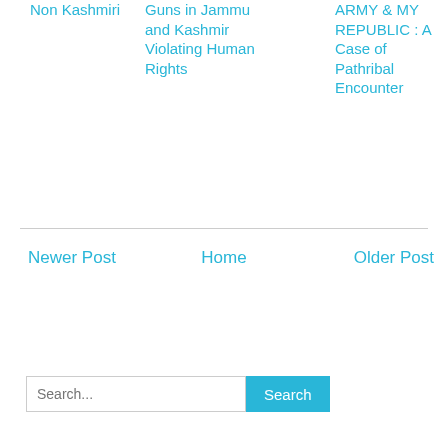Non Kashmiri
Guns in Jammu and Kashmir Violating Human Rights
ARMY & MY REPUBLIC : A Case of Pathribal Encounter
Newer Post
Home
Older Post
Search...